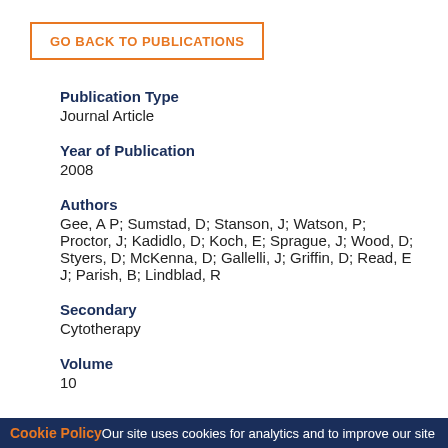GO BACK TO PUBLICATIONS
Publication Type
Journal Article
Year of Publication
2008
Authors
Gee, A P; Sumstad, D; Stanson, J; Watson, P; Proctor, J; Kadidlo, D; Koch, E; Sprague, J; Wood, D; Styers, D; McKenna, D; Gallelli, J; Griffin, D; Read, E J; Parish, B; Lindblad, R
Secondary
Cytotherapy
Volume
10
Cookie Policy Our site uses cookies for analytics and to improve our site